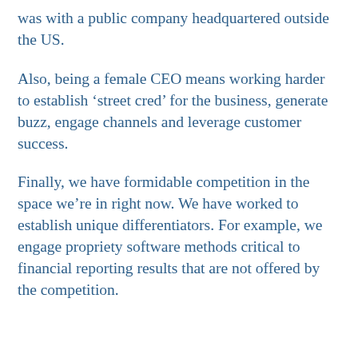was with a public company headquartered outside the US.
Also, being a female CEO means working harder to establish ‘street cred’ for the business, generate buzz, engage channels and leverage customer success.
Finally, we have formidable competition in the space we’re in right now. We have worked to establish unique differentiators. For example, we engage propriety software methods critical to financial reporting results that are not offered by the competition.